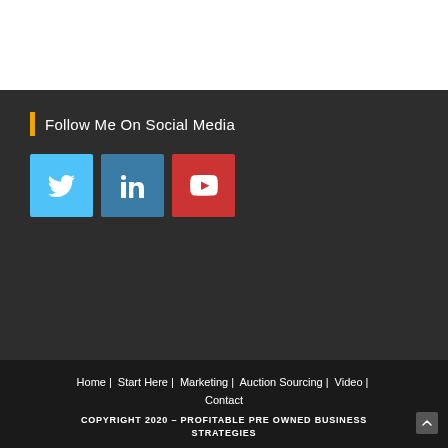Follow Me On Social Media
[Figure (illustration): Three social media icon buttons: Twitter (blue), LinkedIn (steel blue), YouTube (red), each as a square icon]
Home | Start Here | Marketing | Auction Sourcing | Video | Contact
COPYRIGHT 2020 – PROFITABLE PRE OWNED BUSINESS STRATEGIES